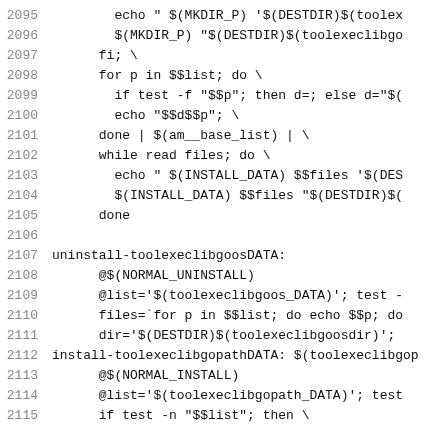Code listing lines 2095–2115, makefile/shell script content
2095: echo " $(MKDIR_P) '$(DESTDIR)$(toolex
2096: $(MKDIR_P) "$(DESTDIR)$(toolexeclibgo
2097: fi; \
2098: for p in $$list; do \
2099:   if test -f "$$p"; then d=; else d="$(
2100:   echo "$$d$$p"; \
2101: done | $(am__base_list) | \
2102: while read files; do \
2103:   echo " $(INSTALL_DATA) $$files '$(DES
2104:   $(INSTALL_DATA) $$files "$(DESTDIR)$(
2105: done
2106: (blank)
2107: uninstall-toolexeclibgoosDATA:
2108: @$(NORMAL_UNINSTALL)
2109: @list='$(toolexeclibgoos_DATA)'; test -
2110: files=`for p in $$list; do echo $$p; do
2111: dir='$(DESTDIR)$(toolexeclibgoosdir)';
2112: install-toolexeclibgopathDATA: $(toolexeclibgop
2113: @$(NORMAL_INSTALL)
2114: @list='$(toolexeclibgopath_DATA)'; test
2115: if test -n "$$list"; then \